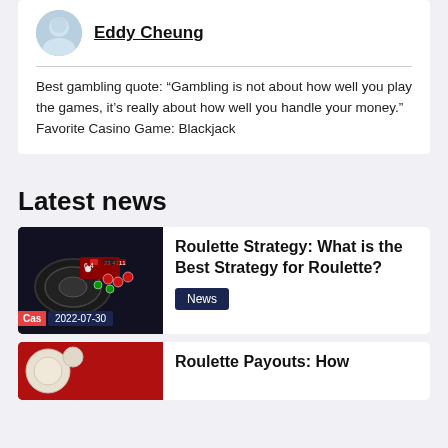[Figure (photo): Avatar photo of Eddy Cheung, a person in light-colored clothing]
Eddy Cheung
Best gambling quote: “Gambling is not about how well you play the games, it’s really about how well you handle your money.”
Favorite Casino Game: Blackjack
Latest news
[Figure (photo): Photo of a roulette table with chips and wheel, dark background, with label 'Cas' and date '2022-07-30']
Roulette Strategy: What is the Best Strategy for Roulette?
News
[Figure (photo): Partial photo of roulette-related image, red tones]
Roulette Payouts: How